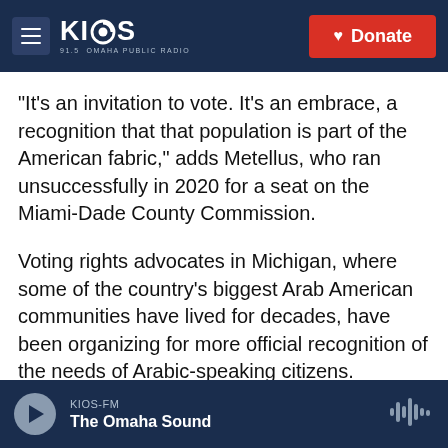KIOS 91.5 Omaha Public Radio | Donate
"It's an invitation to vote. It's an embrace, a recognition that that population is part of the American fabric," adds Metellus, who ran unsuccessfully in 2020 for a seat on the Miami-Dade County Commission.
Voting rights advocates in Michigan, where some of the country's biggest Arab American communities have lived for decades, have been organizing for more official recognition of the needs of Arabic-speaking citizens.
"When we explained to them that they can vote
KIOS-FM | The Omaha Sound